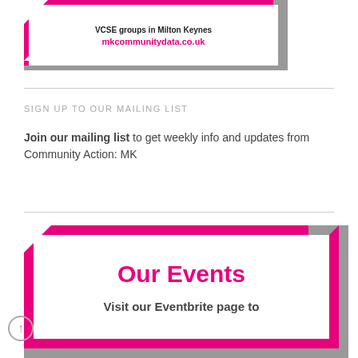[Figure (infographic): Pink and grey bordered banner card with white inner panel showing 'VCSE groups in Milton Keynes' and 'mkcommunitydata.co.uk' in bold pink text, with decorative notched corners.]
SIGN UP TO OUR MAILING LIST
Join our mailing list to get weekly info and updates from Community Action: MK
[Figure (infographic): Pink and grey bordered banner card with white inner panel showing 'Our Events' in large bold pink text and 'Visit our Eventbrite page to' in bold dark text, with decorative notched corners.]